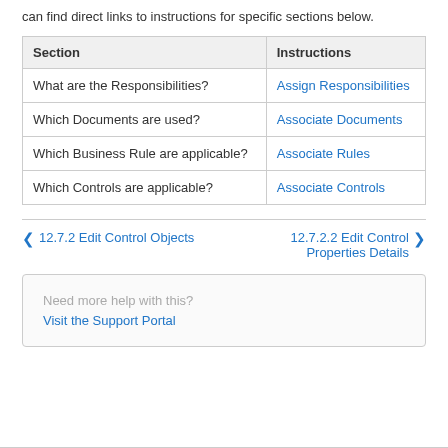can find direct links to instructions for specific sections below.
| Section | Instructions |
| --- | --- |
| What are the Responsibilities? | Assign Responsibilities |
| Which Documents are used? | Associate Documents |
| Which Business Rule are applicable? | Associate Rules |
| Which Controls are applicable? | Associate Controls |
◀ 12.7.2 Edit Control Objects    12.7.2.2 Edit Control Properties Details ▶
Need more help with this?
Visit the Support Portal